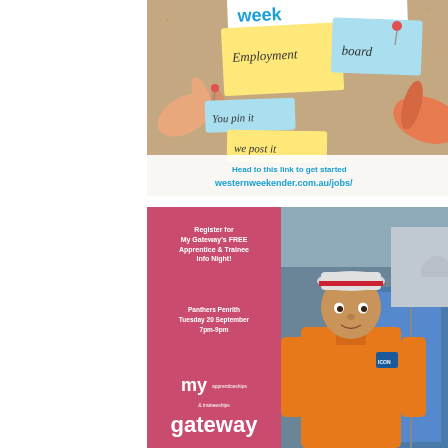[Figure (illustration): Western Weekender Employment Board advertisement. Shows a corkboard with sticky notes reading 'Employment board', 'You pin it', 'we post it'. A hand pins a note. Text reads 'Head to this link to get started westernweekender.com.au/jobs/']
[Figure (photo): My Gateway Apprenticeships & Traineeships advertisement. Left pink panel with white text: 'Register for My Gateway's FREE Apprentice & Trainee Info Night! Panthers Penrith Tuesday 20 September 7pm-9pm' and My Gateway logo. Right panel shows photo of young man in orange hi-vis shirt and hard hat on a construction site.]